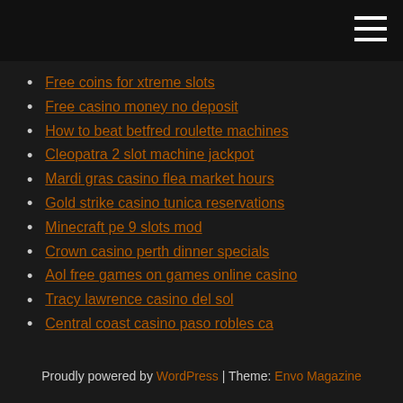[hamburger menu icon]
Free coins for xtreme slots
Free casino money no deposit
How to beat betfred roulette machines
Cleopatra 2 slot machine jackpot
Mardi gras casino flea market hours
Gold strike casino tunica reservations
Minecraft pe 9 slots mod
Crown casino perth dinner specials
Aol free games on games online casino
Tracy lawrence casino del sol
Central coast casino paso robles ca
Proudly powered by WordPress | Theme: Envo Magazine